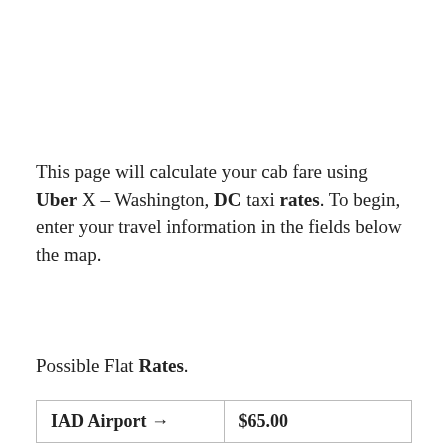This page will calculate your cab fare using Uber X – Washington, DC taxi rates. To begin, enter your travel information in the fields below the map.
Possible Flat Rates.
| IAD Airport → | $65.00 |